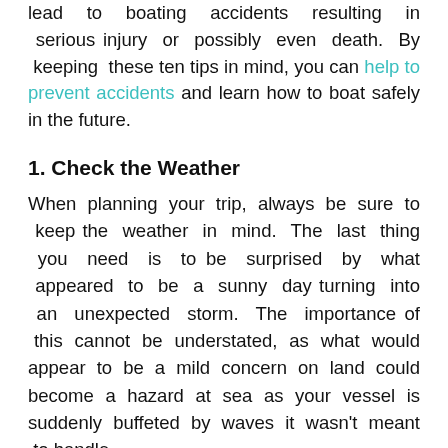lead to boating accidents resulting in serious injury or possibly even death. By keeping these ten tips in mind, you can help to prevent accidents and learn how to boat safely in the future.
1. Check the Weather
When planning your trip, always be sure to keep the weather in mind. The last thing you need is to be surprised by what appeared to be a sunny day turning into an unexpected storm. The importance of this cannot be understated, as what would appear to be a mild concern on land could become a hazard at sea as your vessel is suddenly buffeted by waves it wasn't meant to handle.
2. Understand the Jargon